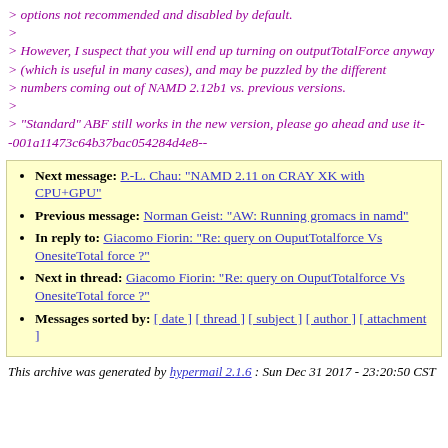> options not recommended and disabled by default.
>
> However, I suspect that you will end up turning on outputTotalForce anyway
> (which is useful in many cases), and may be puzzled by the different
> numbers coming out of NAMD 2.12b1 vs. previous versions.
>
> "Standard" ABF still works in the new version, please go ahead and use it--001a11473c64b37bac054284d4e8--
Next message: P.-L. Chau: "NAMD 2.11 on CRAY XK with CPU+GPU"
Previous message: Norman Geist: "AW: Running gromacs in namd"
In reply to: Giacomo Fiorin: "Re: query on OuputTotalforce Vs OnesiteTotal force ?"
Next in thread: Giacomo Fiorin: "Re: query on OuputTotalforce Vs OnesiteTotal force ?"
Messages sorted by: [ date ] [ thread ] [ subject ] [ author ] [ attachment ]
This archive was generated by hypermail 2.1.6 : Sun Dec 31 2017 - 23:20:50 CST